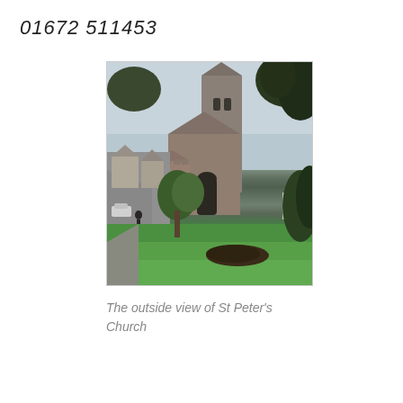01672 511453
[Figure (photo): Exterior photograph of St Peter's Church, showing the stone church building with a tall tower and pointed spire, surrounded by trees and a green lawn in the foreground, with a street visible to the left.]
The outside view of St Peter's Church